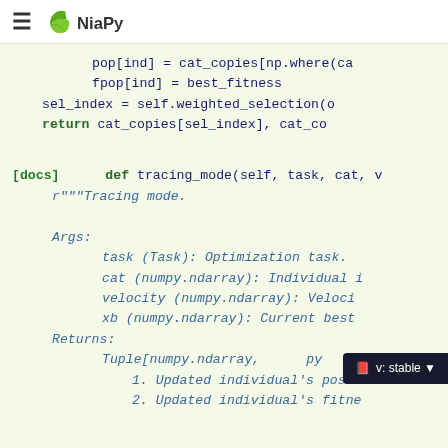NiaPy
[Figure (screenshot): NiaPy documentation website header with hamburger menu icon and NiaPy leaf logo]
pop[ind] = cat_copies[np.where(ca
    fpop[ind] = best_fitness
sel_index = self.weighted_selection(o
return cat_copies[sel_index], cat_co
[docs]    def tracing_mode(self, task, cat, v
    r"""Tracing mode.

    Args:
        task (Task): Optimization task.
        cat (numpy.ndarray): Individual i
        velocity (numpy.ndarray): Veloci
        xb (numpy.ndarray): Current best
    Returns:
        Tuple[numpy.ndarray,        py
            1. Updated individual's posi
            2. Updated individual's fitne